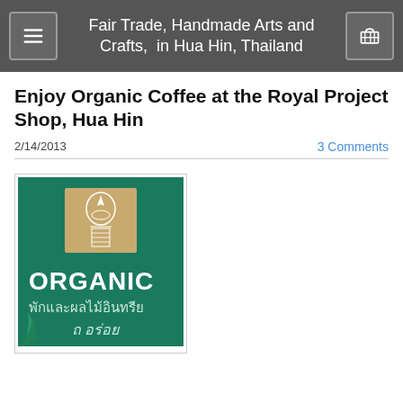Fair Trade, Handmade Arts and Crafts,  in Hua Hin, Thailand
Enjoy Organic Coffee at the Royal Project Shop, Hua Hin
2/14/2013
3 Comments
[Figure (photo): Green package labeled ORGANIC with Thai text and Royal Project logo]
The Royal Projec...